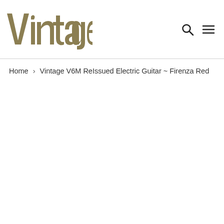[Figure (logo): Vintage guitars cursive logo in olive/khaki color with registered trademark symbol]
Home › Vintage V6M ReIssued Electric Guitar ~ Firenza Red